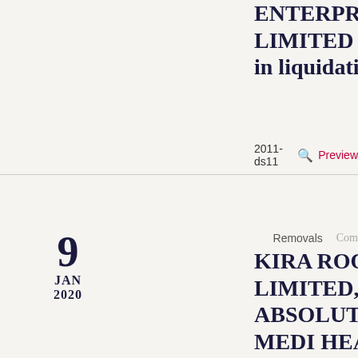ENTERPRISES LIMITED (all in liquidation)
2011-ds11  Preview
9 JAN 2020
Removals  Com
KIRA ROOFING LIMITED, ABSOLUTE MEDI HEALTH & FITNESS CENTRE LIMITED, NANNY'S FOOD TRUCK LIMITED, KIDZ PARADISE HOME BASED CHILD CARE LIMITED, HILLMAN